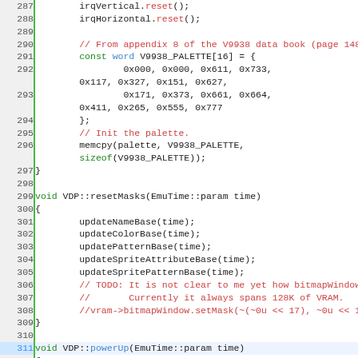[Figure (screenshot): Source code listing in C++ showing lines 287-314 of VDP emulator code, with syntax highlighting. Line numbers on left with green separator bar. Keywords in green, comments in red, types in blue, code in black/dark.]